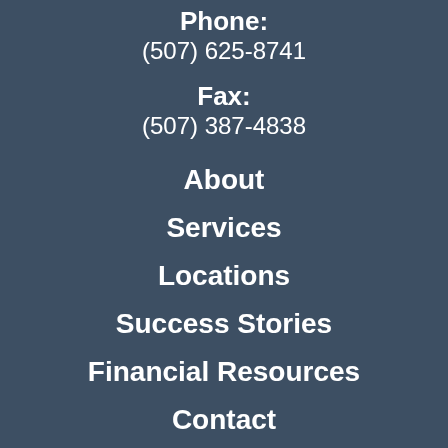Phone:
(507) 625-8741
Fax:
(507) 387-4838
About
Services
Locations
Success Stories
Financial Resources
Contact
Careers
Employee Portal